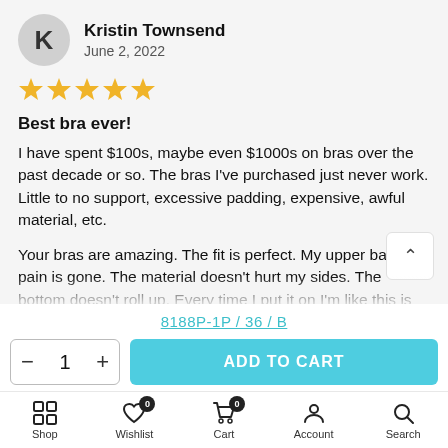Kristin Townsend
June 2, 2022
[Figure (other): 5 gold star rating icons]
Best bra ever!
I have spent $100s, maybe even $1000s on bras over the past decade or so. The bras I've purchased just never work. Little to no support, excessive padding, expensive, awful material, etc.

Your bras are amazing. The fit is perfect. My upper back pain is gone. The material doesn't hurt my sides. The bottom doesn't roll up. Every time I put it on I'm like this is so perfect
8188P-1P / 36 / B
- 1 + ADD TO CART
Shop  Wishlist  Cart  Account  Search